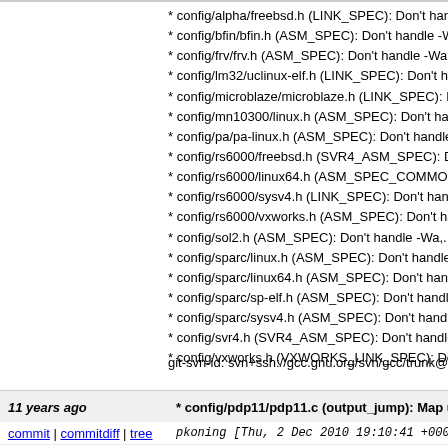* config/alpha/freebsd.h (LINK_SPEC): Don't hanco
* config/bfin/bfin.h (ASM_SPEC): Don't handle -Wa
* config/frv/frv.h (ASM_SPEC): Don't handle -Wa,.
* config/lm32/uclinux-elf.h (LINK_SPEC): Don't ha
* config/microblaze/microblaze.h (LINK_SPEC): D
* config/mn10300/linux.h (ASM_SPEC): Don't han
* config/pa/pa-linux.h (ASM_SPEC): Don't handle
* config/rs6000/freebsd.h (SVR4_ASM_SPEC): Do
* config/rs6000/linux64.h (ASM_SPEC_COMMON
* config/rs6000/sysv4.h (LINK_SPEC): Don't hand
* config/rs6000/vxworks.h (ASM_SPEC): Don't hal
* config/sol2.h (ASM_SPEC): Don't handle -Wa,.
* config/sparc/linux.h (ASM_SPEC): Don't handle -
* config/sparc/linux64.h (ASM_SPEC): Don't hand
* config/sparc/sp-elf.h (ASM_SPEC): Don't handle
* config/sparc/sysv4.h (ASM_SPEC): Don't handle
* config/svr4.h (SVR4_ASM_SPEC): Don't handle
* config/vxworks.h (VXWORKS_LINK_SPEC): Don
git-svn-id: svn+ssh://gcc.gnu.org/svn/gcc/trunk@1
11 years ago
* config/pdp11/pdp11.c (output_jump): Map un
pkoning [Thu, 2 Dec 2010 19:10:41 +0000
* config/pdp11/pdp11.c (output_jump): Map unsign opcodes if CC_NO_OVERFLOW is set. (notice_update_cc_on_set): Correct setting of CC affect_set CC_NO_OVERFLOW for cases wher